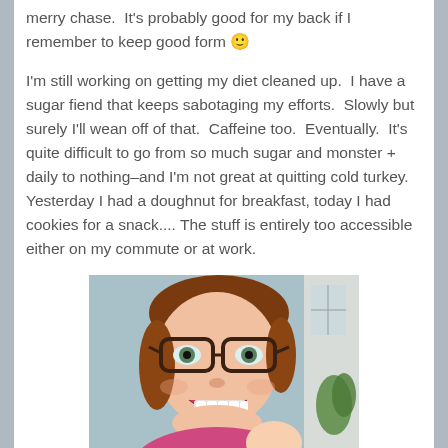merry chase.  It's probably good for my back if I remember to keep good form 🙂
I'm still working on getting my diet cleaned up.  I have a sugar fiend that keeps sabotaging my efforts.  Slowly but surely I'll wean off of that.  Caffeine too.  Eventually.  It's quite difficult to go from so much sugar and monster + daily to nothing–and I'm not great at quitting cold turkey.  Yesterday I had a doughnut for breakfast, today I had cookies for a snack.... The stuff is entirely too accessible either on my commute or at work.
[Figure (photo): A woman with glasses making a surprised/excited expression, wearing a pink shirt, photographed outdoors in a selfie-style photo.]